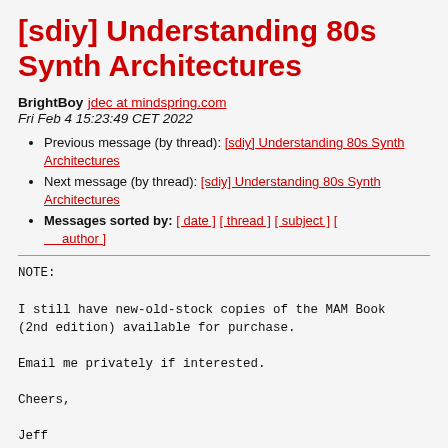[sdiy] Understanding 80s Synth Architectures
BrightBoy jdec at mindspring.com
Fri Feb 4 15:23:49 CET 2022
Previous message (by thread): [sdiy] Understanding 80s Synth Architectures
Next message (by thread): [sdiy] Understanding 80s Synth Architectures
Messages sorted by: [ date ] [ thread ] [ subject ] [ author ]
NOTE:

I still have new-old-stock copies of the MAM Book
(2nd edition) available for purchase.

Email me privately if interested.

Cheers,

Jeff